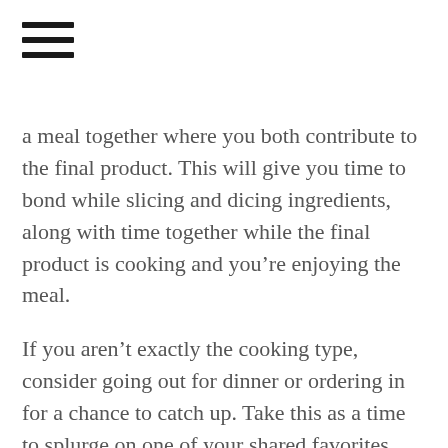DONATE NOW
a meal together where you both contribute to the final product. This will give you time to bond while slicing and dicing ingredients, along with time together while the final product is cooking and you’re enjoying the meal.
If you aren’t exactly the cooking type, consider going out for dinner or ordering in for a chance to catch up. Take this as a time to splurge on one of your shared favorites and pull out all of the stops. This will be the perfect opportunity to make time for each other and have a one on one conversation.